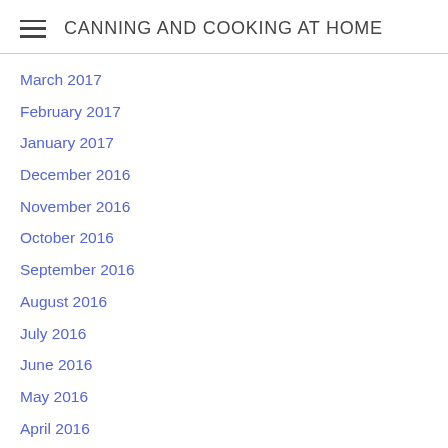CANNING AND COOKING AT HOME
March 2017
February 2017
January 2017
December 2016
November 2016
October 2016
September 2016
August 2016
July 2016
June 2016
May 2016
April 2016
March 2016
February 2016
January 2016
December 2015
November 2015
October 2015